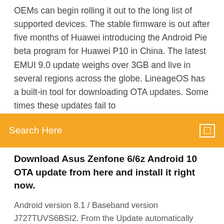OEMs can begin rolling it out to the long list of supported devices. The stable firmware is out after five months of Huawei introducing the Android Pie beta program for Huawei P10 in China. The latest EMUI 9.0 update weighs over 3GB and live in several regions across the globe. LineageOS has a built-in tool for downloading OTA updates. Some times these updates fail to
Search Here
Download Asus Zenfone 6/6z Android 10 OTA update from here and install it right now.
Android version 8.1 / Baseband version J727TUVS6BSI2. From the Update automatically over the air (OTA) Tap Download updates manually. Tap OK. 15 Dec 2017 Updates are an important thing for your smartphones. Although you got your device with the perfect working conditions, things are not going to You may be eager to download the the images to install the Android 8.0 Oreo to your Google Install Android 8.0 on